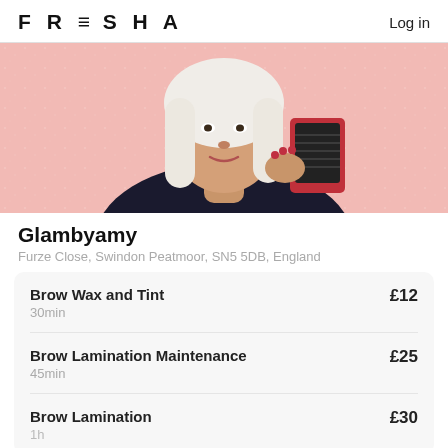FRESHA   Log in
[Figure (illustration): Illustrated woman with platinum blonde hair wearing a black outfit, holding a tray of eyelash extensions, against a pink glittery background]
Glambyamy
Furze Close, Swindon Peatmoor, SN5 5DB, England
| Service | Duration | Price |
| --- | --- | --- |
| Brow Wax and Tint | 30min | £12 |
| Brow Lamination Maintenance | 45min | £25 |
| Brow Lamination | 1h | £30 |